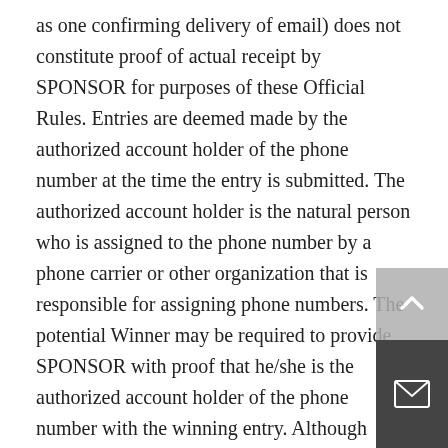as one confirming delivery of email) does not constitute proof of actual receipt by SPONSOR for purposes of these Official Rules. Entries are deemed made by the authorized account holder of the phone number at the time the entry is submitted. The authorized account holder is the natural person who is assigned to the phone number by a phone carrier or other organization that is responsible for assigning phone numbers. The potential Winner may be required to provide SPONSOR with proof that he/she is the authorized account holder of the phone number with the winning entry. Although subsequent attempts to enter may be received, only the first entry received from a particular individual phone number is eligible, subsequent attempts to enter will be disqualified. The submission of an entry is solely the responsibility of the PARTICIPANT. Entries may only be made according